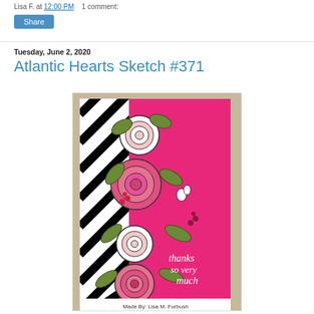Lisa F. at 12:00 PM   1 comment:
Share
Tuesday, June 2, 2020
Atlantic Hearts Sketch #371
[Figure (photo): A handmade greeting card featuring spiral flowers in pink and white with green leaves on a black-and-white striped background layered over a hot pink background. White handwritten script reads 'thanks so very much'. Bottom label reads 'Made By: Lisa M. Furbush'.]